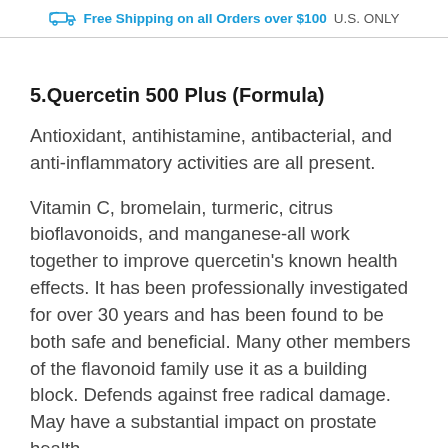Free Shipping on all Orders over $100 U.S. ONLY
5.Quercetin 500 Plus (Formula)
Antioxidant, antihistamine, antibacterial, and anti-inflammatory activities are all present.
Vitamin C, bromelain, turmeric, citrus bioflavonoids, and manganese-all work together to improve quercetin's known health effects. It has been professionally investigated for over 30 years and has been found to be both safe and beneficial. Many other members of the flavonoid family use it as a building block. Defends against free radical damage. May have a substantial impact on prostate health